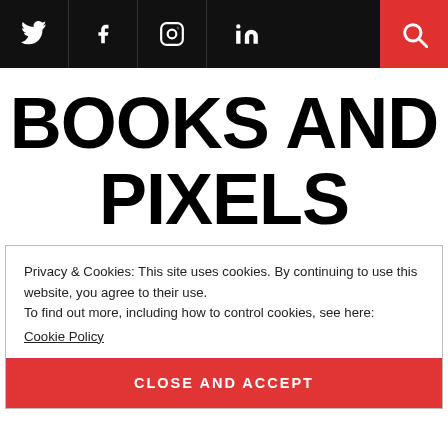Social icons: Twitter, Facebook, Instagram, LinkedIn; Search button
BOOKS AND PIXELS
Privacy & Cookies: This site uses cookies. By continuing to use this website, you agree to their use.
To find out more, including how to control cookies, see here: Cookie Policy
CLOSE AND ACCEPT